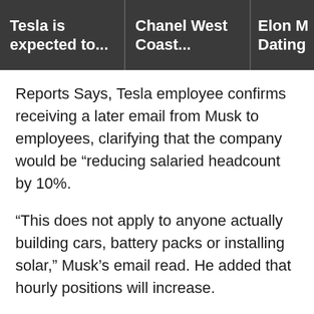Tesla is expected to... | Chanel West Coast... | Elon M Dating
Reports Says, Tesla employee confirms receiving a later email from Musk to employees, clarifying that the company would be “reducing salaried headcount by 10%.
“This does not apply to anyone actually building cars, battery packs or installing solar,” Musk’s email read. He added that hourly positions will increase.
KXAN sat down with three different economists, who all have different answers on what this could signal for the economy